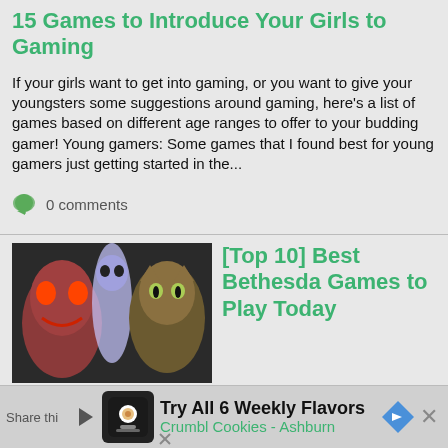15 Games to Introduce Your Girls to Gaming
If your girls want to get into gaming, or you want to give your youngsters some suggestions around gaming, here's a list of games based on different age ranges to offer to your budding gamer!   Young gamers: Some games that I found best for young gamers just getting started in the...
0 comments
[Figure (photo): Collage of Bethesda game characters including horror/fantasy figures]
[Top 10] Best Bethesda Games to Play Today
10. Doom (Classic) Doom (Classic) Gameplay Doom needs no introduction. It basically invented the first person shooter genre as we know it. Whether it's blasting demons in the face or blowing them up the kinetic gameplay still holds up. Plus it's been ported to a fridge. Get...
0 comments
Try All 6 Weekly Flavors Crumbl Cookies - Ashburn